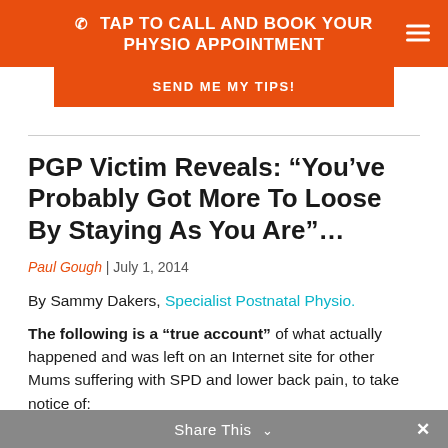TAP TO CALL AND BOOK YOUR PHYSIO APPOINTMENT
SEND ME MY TIPS!
PGP Victim Reveals: “You’ve Probably Got More To Loose By Staying As You Are”…
Paul Gough | July 1, 2014
By Sammy Dakers, Specialist Postnatal Physio.
The following is a “true account” of what actually happened and was left on an Internet site for other Mums suffering with SPD and lower back pain, to take notice of:
Share This